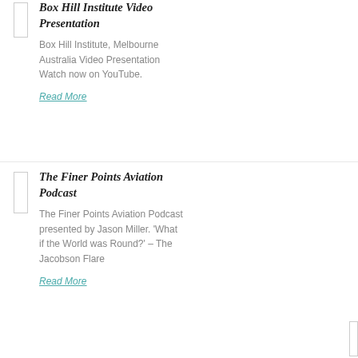Box Hill Institute Video Presentation
Box Hill Institute, Melbourne Australia Video Presentation Watch now on YouTube.
Read More
The Finer Points Aviation Podcast
The Finer Points Aviation Podcast presented by Jason Miller. 'What if the World was Round?' – The Jacobson Flare
Read More